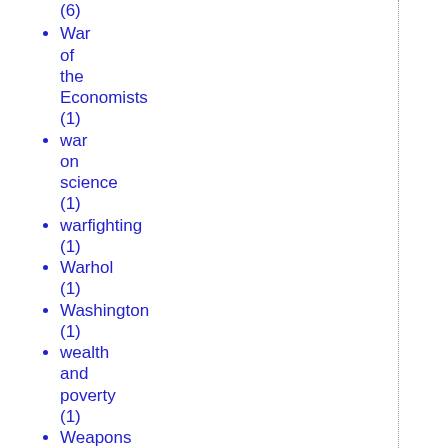(6)
War of the Economists (1)
war on science (1)
warfighting (1)
Warhol (1)
Washington (1)
wealth and poverty (1)
Weapons of Mass Destruction (1)